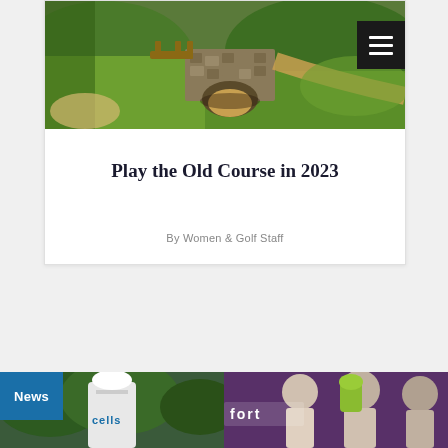[Figure (photo): Aerial view of a golf course with stone bridge, green fairway, and sand bunkers]
Play the Old Course in 2023
By Women & Golf Staff
[Figure (photo): News section showing two sports photographs side by side]
News